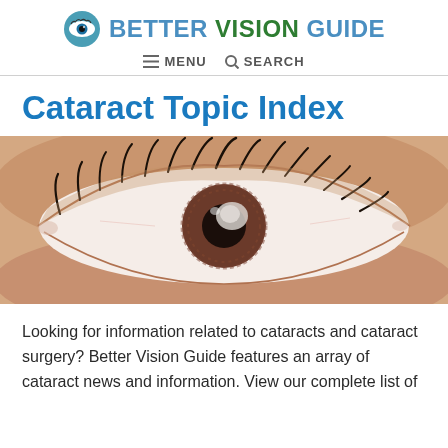BETTER VISION GUIDE — MENU  SEARCH
Cataract Topic Index
[Figure (photo): Close-up photograph of a human eye with a cataract visible on the lens, showing brown iris, long eyelashes, and cloudy white opacity on the pupil area. Skin tone background.]
Looking for information related to cataracts and cataract surgery? Better Vision Guide features an array of cataract news and information. View our complete list of